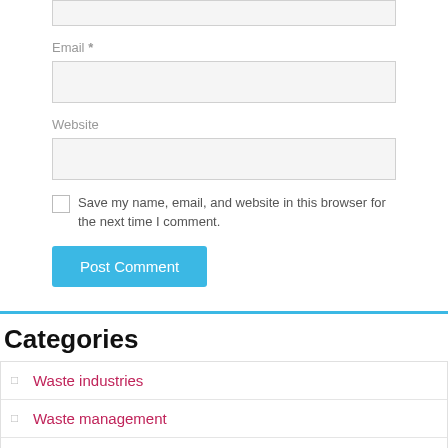Email *
Website
Save my name, email, and website in this browser for the next time I comment.
Post Comment
Categories
Waste industries
Waste management
Wastewater
Water education
Wat…